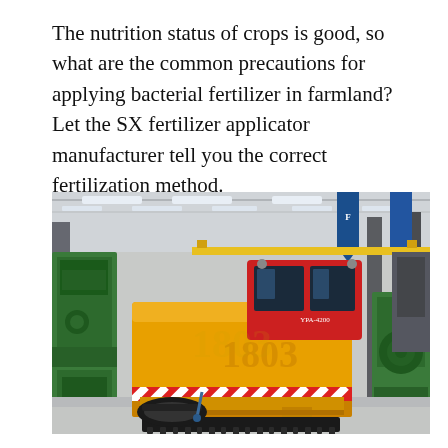The nutrition status of crops is good, so what are the common precautions for applying bacterial fertilizer in farmland? Let the SX fertilizer applicator manufacturer tell you the correct fertilization method.
[Figure (photo): A large yellow agricultural fertilizer applicator machine with the number 1803 on its body, parked inside an industrial factory/warehouse with green machinery visible on the sides and overhead crane structure visible in the background.]